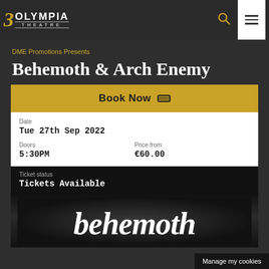3 Olympia Theatre — navigation header with search and menu icons
DME Promotions Presents
Behemoth & Arch Enemy
Book Now
| Date |  | Doors | Price from |
| --- | --- | --- | --- |
| Tue 27th Sep 2022 |  | 5:30PM | €60.00 |
Ticket status
Tickets Available
[Figure (photo): Behemoth band logo in gothic white lettering on dark smoky background]
Manage my cookies